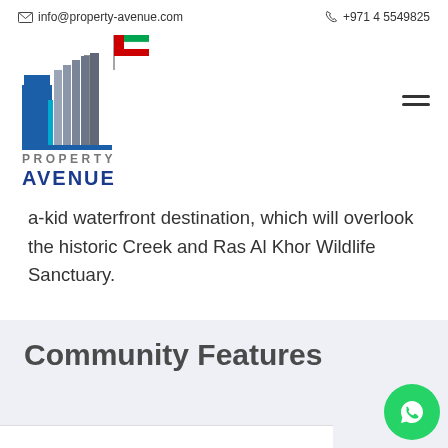info@property-avenue.com   +971 4 5549825
[Figure (logo): Property Avenue real estate logo with stylized building and UAE flag, text PROPERTY AVENUE]
a-kid waterfront destination, which will overlook the historic Creek and Ras Al Khor Wildlife Sanctuary.
Community Features